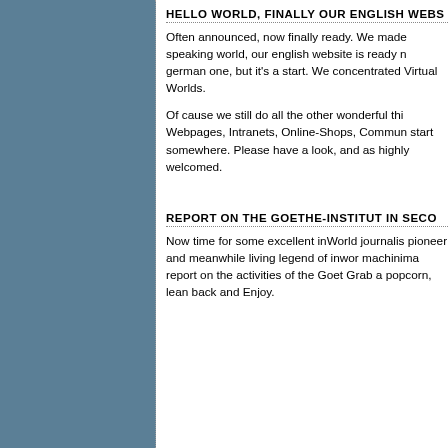HELLO WORLD, FINALLY OUR ENGLISH WEBS...
Often announced, now finally ready. We made... speaking world, our english website is ready n... german one, but it's a start. We concentrated... Virtual Worlds.
Of cause we still do all the other wonderful thi... Webpages, Intranets, Online-Shops, Commun... start somewhere. Please have a look, and as... highly welcomed.
REPORT ON THE GOETHE-INSTITUT IN SECO...
Now time for some excellent inWorld journalis... pioneer and meanwhile living legend of inwor... machinima report on the activities of the Goet... Grab a popcorn, lean back and Enjoy.